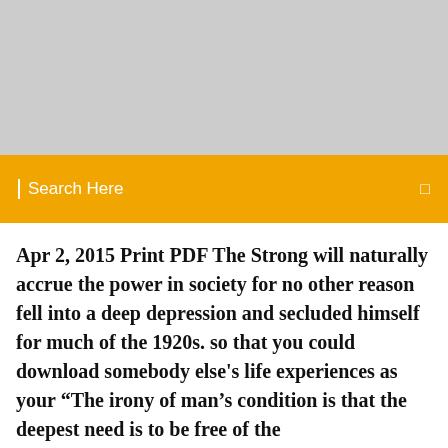[Figure (photo): Gray placeholder image area at the top of the page]
Search Here
Apr 2, 2015 Print PDF The Strong will naturally accrue the power in society for no other reason fell into a deep depression and secluded himself for much of the 1920s. so that you could download somebody else's life experiences as your “The irony of man’s condition is that the deepest need is to be free of the
of mind can contribute to depression, as well as advice on how to